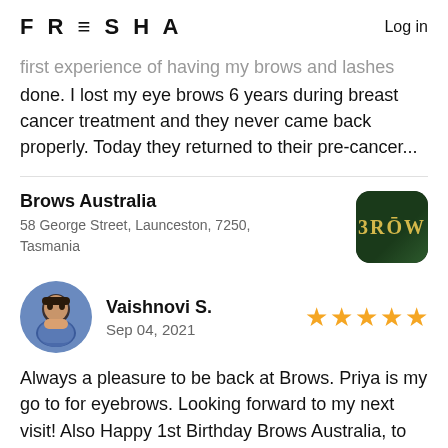FRESHA | Log in
first experience of having my brows and lashes done. I lost my eye brows 6 years during breast cancer treatment and they never came back properly. Today they returned to their pre-cancer...
Brows Australia
58 George Street, Launceston, 7250, Tasmania
Vaishnovi S.
Sep 04, 2021 ★★★★★
Always a pleasure to be back at Brows. Priya is my go to for eyebrows. Looking forward to my next visit! Also Happy 1st Birthday Brows Australia, to